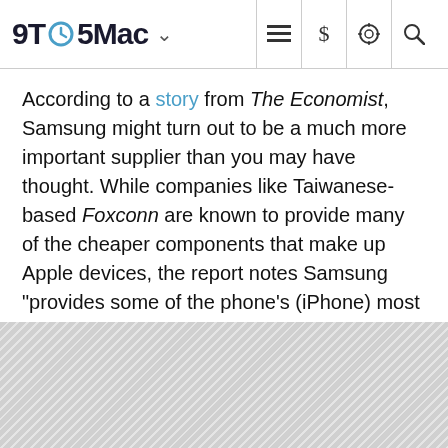9TO5Mac
According to a story from The Economist, Samsung might turn out to be a much more important supplier than you may have thought. While companies like Taiwanese-based Foxconn are known to provide many of the cheaper components that make up Apple devices, the report notes Samsung "provides some of the phone's (iPhone) most important components" including flash memory, DRAM, and processor components. However, they are also quick to point out Apple is one of "Samsung's largest customers".
EXPAND FULL STORY +